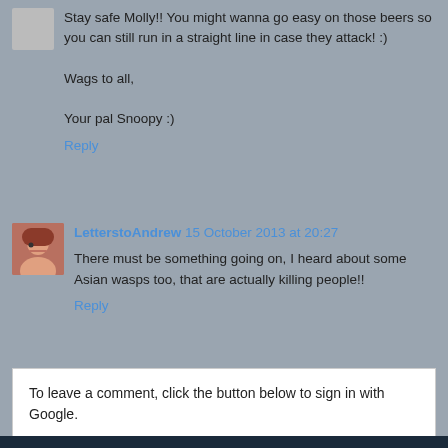Stay safe Molly!! You might wanna go easy on those beers so you can still run in a straight line in case they attack! :)

Wags to all,

Your pal Snoopy :)
Reply
LetterstoAndrew 15 October 2013 at 20:27
There must be something going on, I heard about some Asian wasps too, that are actually killing people!!
Reply
To leave a comment, click the button below to sign in with Google.
SIGN IN WITH GOOGLE